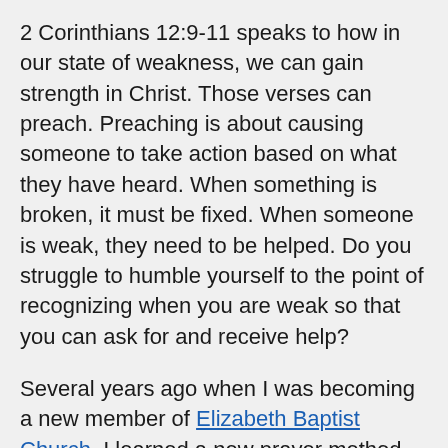2 Corinthians 12:9-11 speaks to how in our state of weakness, we can gain strength in Christ. Those verses can preach. Preaching is about causing someone to take action based on what they have heard. When something is broken, it must be fixed. When someone is weak, they need to be helped. Do you struggle to humble yourself to the point of recognizing when you are weak so that you can ask for and receive help?
Several years ago when I was becoming a new member of Elizabeth Baptist Church, I learned a new prayer method that I use when I am asking someone for help. It is called the A.C.T.S. Method: